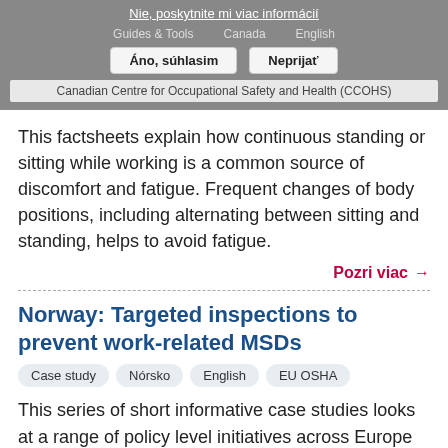Nie, poskytnite mi viac informácií | Guides & Tools  Canada  English | Áno, súhlasim  Neprijať | Canadian Centre for Occupational Safety and Health (CCOHS)
This factsheets explain how continuous standing or sitting while working is a common source of discomfort and fatigue. Frequent changes of body positions, including alternating between sitting and standing, helps to avoid fatigue.
Pozri viac →
Norway: Targeted inspections to prevent work-related MSDs
Case study  Nórsko  English  EU OSHA
This series of short informative case studies looks at a range of policy level initiatives across Europe